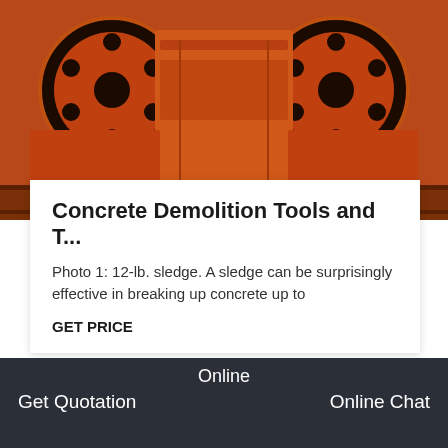[Figure (photo): Orange heavy industrial machinery (crusher or mill equipment) with large circular flywheels, viewed from above and front, industrial orange paint.]
Concrete Demolition Tools and T...
Photo 1: 12-lb. sledge. A sledge can be surprisingly effective in breaking up concrete up to
GET PRICE
[Figure (photo): Outdoor industrial yard with orange crusher/hopper equipment in foreground, grey tiled building in background, bare trees, overcast sky.]
Online
Get Quotation
Online Chat